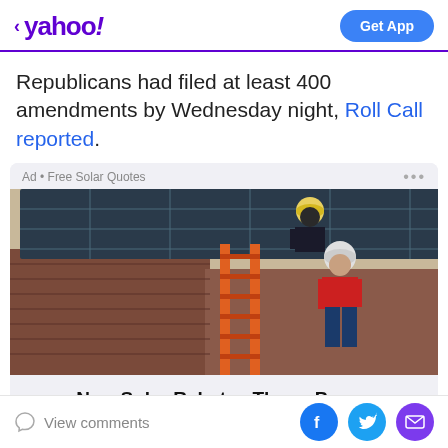< yahoo!  Get App
Republicans had filed at least 400 amendments by Wednesday night, Roll Call reported.
[Figure (photo): Advertisement photo showing two workers in hard hats installing solar panels on a rooftop, climbing an orange ladder against a brick wall. Ad label reads: Ad • Free Solar Quotes]
New Solar Rebates Throw Power
View comments  [Facebook] [Twitter] [Email]